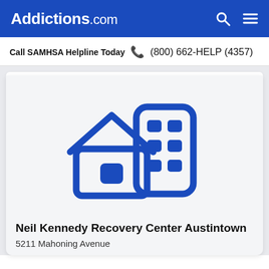Addictions.com
Call SAMHSA Helpline Today  (800) 662-HELP (4357)
[Figure (illustration): Blue icon showing a house and a building/apartment block representing a recovery center facility]
Neil Kennedy Recovery Center Austintown
5211 Mahoning Avenue